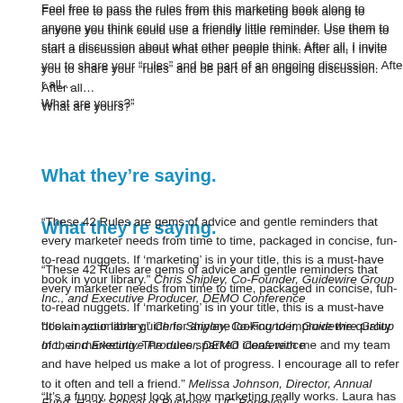Feel free to pass the rules from this marketing book along to anyone you think could use a friendly little reminder. Use them to start a discussion about what other people think. After all, I invite you to share your “rules” and be part of an ongoing discussion. After all… What are yours?”
What they’re saying.
“These 42 Rules are gems of advice and gentle reminders that every marketer needs from time to time, packaged in concise, fun-to-read nuggets. If ‘marketing’ is in your title, this is a must-have book in your library.” Chris Shipley, Co-Founder, Guidewire Group Inc., and Executive Producer, DEMO Conference
“It’s an actionable guide for anyone looking to improve the quality of their marketing. The rules sparked ideas with me and my team and have helped us make a lot of progress. I encourage all to refer to it often and tell a friend.” Melissa Johnson, Director, Annual Fund, Haas School of Business, UC Berkeley
“It’s a funny, honest look at how marketing really works. Laura has written a must-read of the basics we know about but don’t always do.” Kathy Johnson, Co-Founder, C…